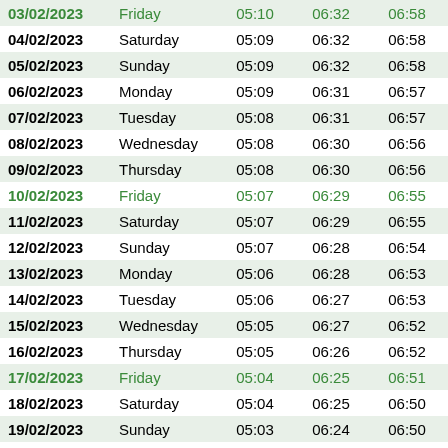| Date | Day | Col3 | Col4 | Col5 | Col6 | Col7 |
| --- | --- | --- | --- | --- | --- | --- |
| 03/02/2023 | Friday | 05:10 | 06:32 | 06:58 | 12:14 | 1 |
| 04/02/2023 | Saturday | 05:09 | 06:32 | 06:58 | 12:14 | 1 |
| 05/02/2023 | Sunday | 05:09 | 06:32 | 06:58 | 12:14 | 1 |
| 06/02/2023 | Monday | 05:09 | 06:31 | 06:57 | 12:14 | 1 |
| 07/02/2023 | Tuesday | 05:08 | 06:31 | 06:57 | 12:14 | 1 |
| 08/02/2023 | Wednesday | 05:08 | 06:30 | 06:56 | 12:14 | 1 |
| 09/02/2023 | Thursday | 05:08 | 06:30 | 06:56 | 12:14 | 1 |
| 10/02/2023 | Friday | 05:07 | 06:29 | 06:55 | 12:14 | 1 |
| 11/02/2023 | Saturday | 05:07 | 06:29 | 06:55 | 12:14 | 1 |
| 12/02/2023 | Sunday | 05:07 | 06:28 | 06:54 | 12:14 | 1 |
| 13/02/2023 | Monday | 05:06 | 06:28 | 06:53 | 12:14 | 1 |
| 14/02/2023 | Tuesday | 05:06 | 06:27 | 06:53 | 12:14 | 1 |
| 15/02/2023 | Wednesday | 05:05 | 06:27 | 06:52 | 12:14 | 1 |
| 16/02/2023 | Thursday | 05:05 | 06:26 | 06:52 | 12:14 | 1 |
| 17/02/2023 | Friday | 05:04 | 06:25 | 06:51 | 12:14 | 1 |
| 18/02/2023 | Saturday | 05:04 | 06:25 | 06:50 | 12:14 | 1 |
| 19/02/2023 | Sunday | 05:03 | 06:24 | 06:50 | 12:14 | 1 |
| 20/02/2023 | Monday | 05:02 | 06:23 | 06:49 | 12:14 | 1 |